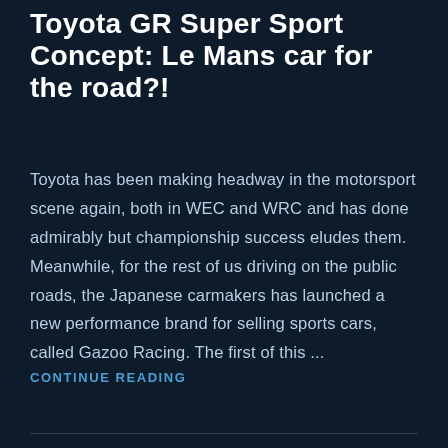Toyota GR Super Sport Concept: Le Mans car for the road?!
Toyota has been making headway in the motorsport scene again, both in WEC and WRC and has done admirably but championship success eludes them. Meanwhile, for the rest of us driving on the public roads, the Japanese carmakers has launched a new performance brand for selling sports cars, called Gazoo Racing. The first of this ...
CONTINUE READING